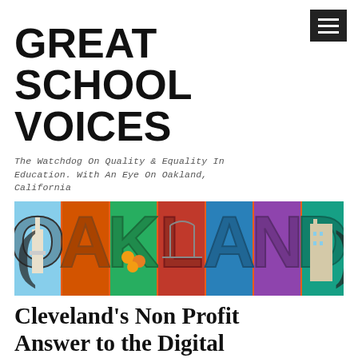GREAT SCHOOL VOICES
The watchdog on quality & equality in education. With an eye on Oakland, California
[Figure (photo): Vintage-style postcard image spelling out OAKLAND with illustrated scenes inside each letter, including a tower, bridge, oranges, and buildings against an orange sunset sky.]
Cleveland's Non Profit Answer to the Digital Divide: Access Denied